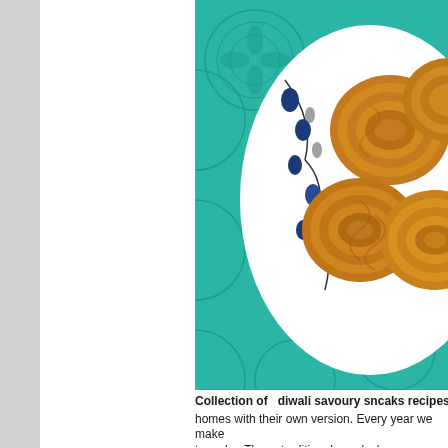[Figure (photo): Overhead view of golden-brown spiral-shaped Indian savory snacks (chakli or murukku) on a decorative white plate with blue floral motif, placed on a teal/turquoise patterned textile background.]
Collection of  diwali savoury sncaks recipes :
homes with their own version. Every year we make to make. These traditional snacks have pre…